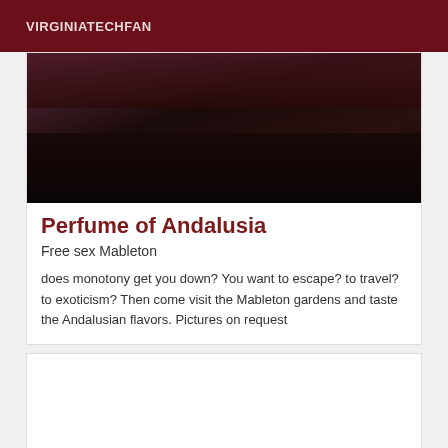VIRGINIATECHFAN
[Figure (photo): Dark interior photo showing a dark wooden table surface with a small metallic cup/vessel on it and a hand visible in the upper right corner, dimly lit room]
Perfume of Andalusia
Free sex Mableton
does monotony get you down? You want to escape? to travel? to exoticism? Then come visit the Mableton gardens and taste the Andalusian flavors. Pictures on request